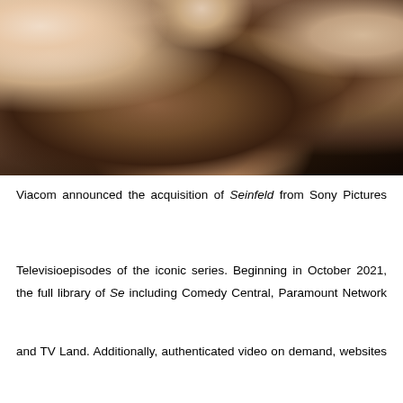[Figure (photo): Group photo showing people embracing, cropped to show torsos and hands. One person wearing a brown plaid jacket, another in a black shirt, and one in a white shirt with print. The image is cropped at the top and bottom.]
Viacom announced the acquisition of Seinfeld from Sony Pictures Television for all 180 episodes of the iconic series. Beginning in October 2021, the full library of Seinfeld aired including Comedy Central, Paramount Network and TV Land. Additionally, Viacom CBS has authenticated video on demand, websites and apps. The deal was closed during a ritualistic Festivus feats of strength competition. The move to Viacom networks means end of TBS, which aired the sitcom since 2002, in what was an original 4 year deal for $1 million per episode for that first deal.
An Emmy and Golden Globe-winner for Best Comedy Series, Seinfeld is one of the greatest comedy series of all time. Jerry Seinfeld stars as a stand-up comedian who has a small, quirky group of friends who join him in wrestling with life's most perplexing, yet often trivial problems. Seinfeld mines the humor in life's mundane situations like waiting in line, seat selection, etc. Also starring are Julia Louis-Dreyfus as Jerry's ex-girlfriend and current platonic pal; Jason Alexander as neurotic hard-luck best friend; and Michael Richards as Jerry's eccentric neighbor.
[Figure (photo): Dark image, mostly black/very dark red, appears to be bottom portion of a photo.]